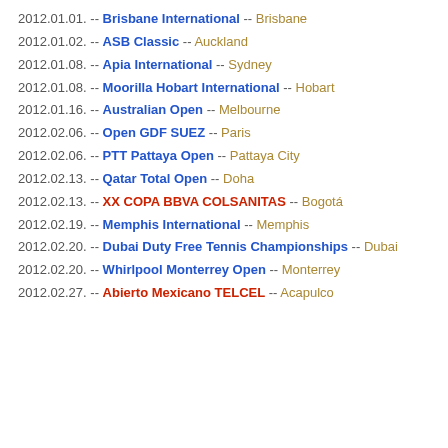2012.01.01. -- Brisbane International -- Brisbane
2012.01.02. -- ASB Classic -- Auckland
2012.01.08. -- Apia International -- Sydney
2012.01.08. -- Moorilla Hobart International -- Hobart
2012.01.16. -- Australian Open -- Melbourne
2012.02.06. -- Open GDF SUEZ -- Paris
2012.02.06. -- PTT Pattaya Open -- Pattaya City
2012.02.13. -- Qatar Total Open -- Doha
2012.02.13. -- XX COPA BBVA COLSANITAS -- Bogotá
2012.02.19. -- Memphis International -- Memphis
2012.02.20. -- Dubai Duty Free Tennis Championships -- Dubai
2012.02.20. -- Whirlpool Monterrey Open -- Monterrey
2012.02.27. -- Abierto Mexicano TELCEL -- Acapulco